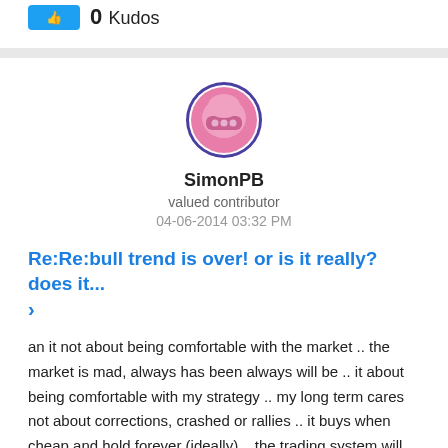[Figure (other): Blue button (kudos/like button)]
0 Kudos
[Figure (illustration): User avatar for SimonPB — circular icon with pink/purple helmet graphic on blue border]
SimonPB
valued contributor
04-06-2014 03:32 PM
Re:Re:bull trend is over! or is it really? does it... >
an it not about being comfortable with the market .. the market is mad, always has been always will be .. it about being comfortable with my strategy .. my long term cares not about corrections, crashed or rallies .. it buys when cheap and hold forever (ideally) .. the trading system will